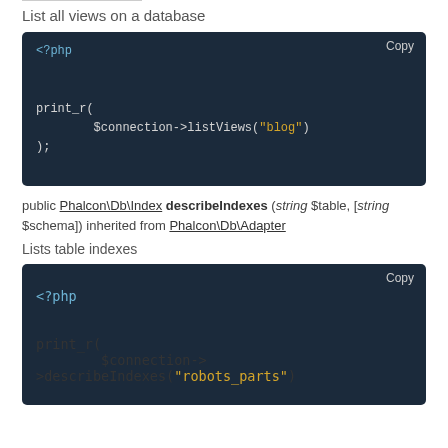List all views on a database
[Figure (screenshot): PHP code block showing print_r($connection->listViews('blog'));]
public Phalcon\Db\Index describeIndexes (string $table, [string $schema]) inherited from Phalcon\Db\Adapter
Lists table indexes
[Figure (screenshot): PHP code block showing print_r($connection->describeIndexes('robots_parts'));]